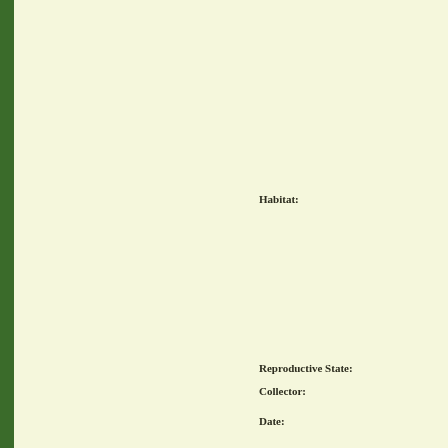Habitat:
Reproductive State:
Collector:
Date: